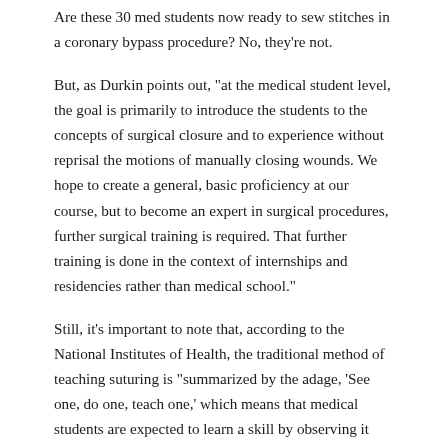Are these 30 med students now ready to sew stitches in a coronary bypass procedure? No, they’re not.
But, as Durkin points out, “at the medical student level, the goal is primarily to introduce the students to the concepts of surgical closure and to experience without reprisal the motions of manually closing wounds. We hope to create a general, basic proficiency at our course, but to become an expert in surgical procedures, further surgical training is required. That further training is done in the context of internships and residencies rather than medical school.”
Still, it’s important to note that, according to the National Institutes of Health, the traditional method of teaching suturing is “summarized by the adage, ‘See one, do one, teach one,’ which means that medical students are expected to learn a skill by observing it once, then doing it once, then teaching it once.”
Clearly, to Durkin’s way of thinking, once is not enough.
And just what were these medical students suturing?